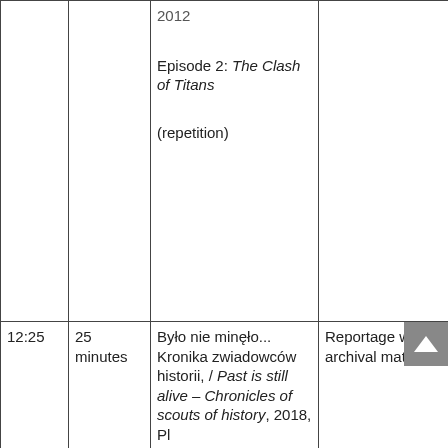| Time | Duration | Title | Description | Category |
| --- | --- | --- | --- | --- |
|  |  | Episode 2: The Clash of Titans

(repetition) |  | Historical education |
| 12:25 | 25 minutes | Było nie minęło... Kronika zwiadowców historii, / Past is still alive – Chronicles of scouts of history, 2018, Pl | Reportage with archival materials | Historical education

Tradition |
| 12:55 | 30 minutes | Sensacje XX wieku/ Sensations of the 20th century, Pl 2016 | Documentary on WW2 (castle in Książ was used by Germans for their plans | Historical truth |